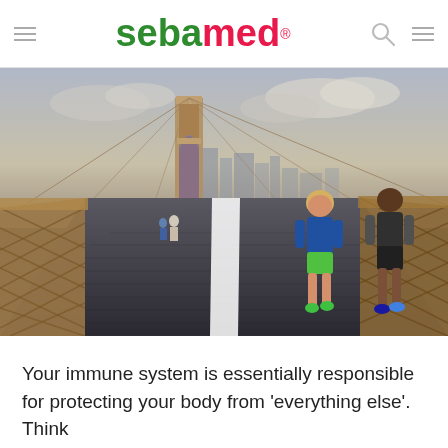sebamed®
[Figure (photo): Two joggers (a woman in blue top and colorful shorts, and a man in dark sleeveless shirt and black shorts) running on the wooden pedestrian walkway of the Brooklyn Bridge in New York City. A woman with a backpack walks ahead. The bridge tower and Manhattan skyline are visible in the background under a partly cloudy sky.]
Your immune system is essentially responsible for protecting your body from 'everything else'. Think